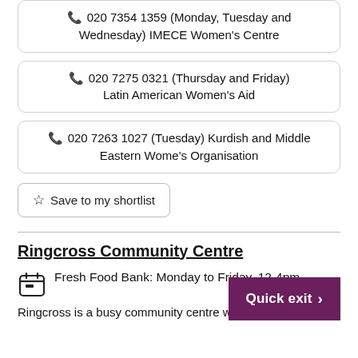📞 020 7354 1359 (Monday, Tuesday and Wednesday) IMECE Women's Centre
📞 020 7275 0321 (Thursday and Friday) Latin American Women's Aid
📞 020 7263 1027 (Tuesday) Kurdish and Middle Eastern Wome's Organisation
☆ Save to my shortlist
Ringcross Community Centre
Fresh Food Bank: Monday to Friday, 12-4pm
Ringcross is a busy community centre with a